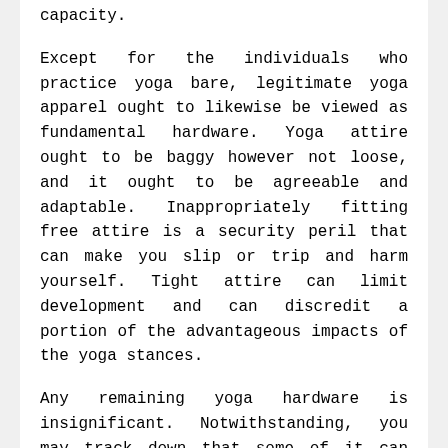capacity.
Except for the individuals who practice yoga bare, legitimate yoga apparel ought to likewise be viewed as fundamental hardware. Yoga attire ought to be baggy however not loose, and it ought to be agreeable and adaptable. Inappropriately fitting free attire is a security peril that can make you slip or trip and harm yourself. Tight attire can limit development and can discredit a portion of the advantageous impacts of the yoga stances.
Any remaining yoga hardware is insignificant. Notwithstanding, you may track down that some of it can assist you with being more agreeable in meditation pillow, or assist you with extending all the more appropriately and keep up legitimate structure. Assuming this is valid for you, you ought to surely consider adding this hardware into your